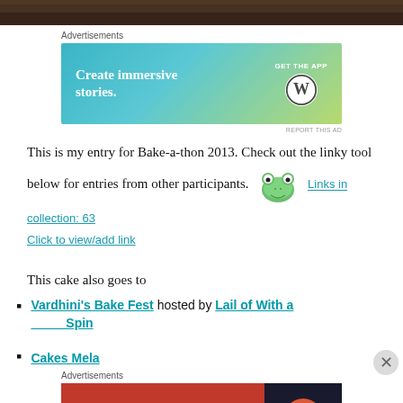[Figure (photo): Top strip showing a dark brown textured surface, likely an animal or fur close-up]
Advertisements
[Figure (screenshot): WordPress advertisement banner: 'Create immersive stories. GET THE APP' with WordPress logo]
This is my entry for Bake-a-thon 2013. Check out the linky tool below for entries from other participants.
[Figure (other): Linky frog icon with text: Links in collection: 63 / Click to view/add link]
This cake also goes to
Vardhini's Bake Fest hosted by Lail of With a Spin
Cakes Mela
Advertisements
[Figure (screenshot): DuckDuckGo advertisement: 'Search, browse, and email with more privacy. All in One Free App' with DuckDuckGo logo]